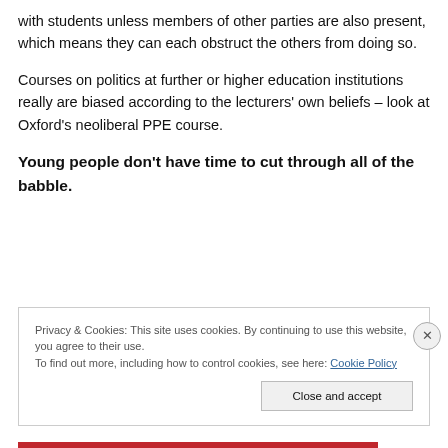with students unless members of other parties are also present, which means they can each obstruct the others from doing so.
Courses on politics at further or higher education institutions really are biased according to the lecturers' own beliefs – look at Oxford's neoliberal PPE course.
Young people don't have time to cut through all of the babble.
Privacy & Cookies: This site uses cookies. By continuing to use this website, you agree to their use.
To find out more, including how to control cookies, see here: Cookie Policy